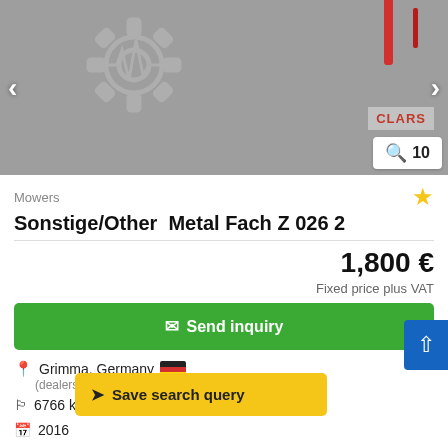[Figure (photo): Mower equipment photo with CLAAS branding, showing agricultural machinery parts on grey background. Navigation arrows visible. Photo count badge shows 10 images.]
Mowers
Sonstige/Other  Metal Fach Z 026 2
1,800 €
Fixed price plus VAT
Send inquiry
Grimma, Germany
(dealership location)
6766 km
Save search query
2016